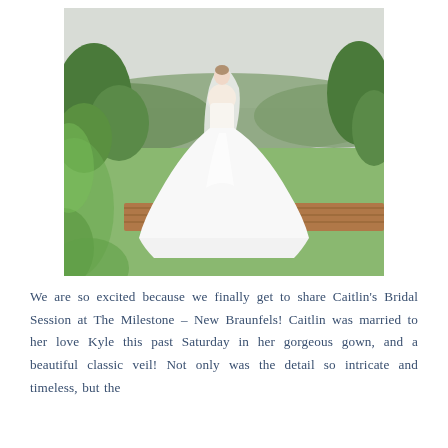[Figure (photo): A bride in a white ball gown with a long train and veil stands on a wooden deck platform outdoors. She is surrounded by lush green trees, shrubs, and grass, with rolling hills and an overcast sky in the background. Green foliage in the foreground partially frames the image. The photograph has a soft, romantic, light-toned aesthetic.]
We are so excited because we finally get to share Caitlin's Bridal Session at The Milestone – New Braunfels! Caitlin was married to her love Kyle this past Saturday in her gorgeous gown, and a beautiful classic veil! Not only was the detail so intricate and timeless, but the